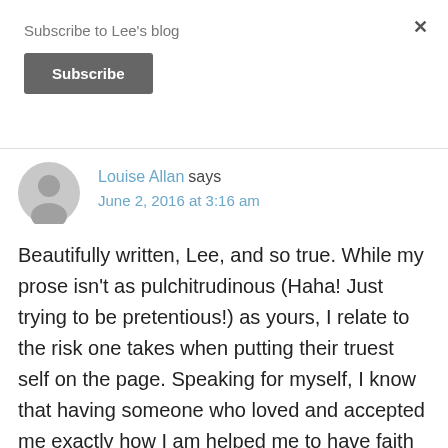Subscribe to Lee's blog
Subscribe
Louise Allan says
June 2, 2016 at 3:16 am
Beautifully written, Lee, and so true. While my prose isn't as pulchitrudinous (Haha! Just trying to be pretentious!) as yours, I relate to the risk one takes when putting their truest self on the page. Speaking for myself, I know that having someone who loved and accepted me exactly how I am helped me to have faith in myself and